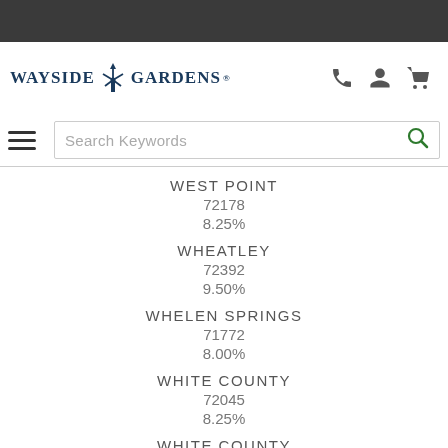[Figure (logo): Wayside Gardens logo with windmill icon]
[Figure (screenshot): Navigation bar with hamburger menu and search box]
WEST POINT
72178
8.25%
WHEATLEY
72392
9.50%
WHELEN SPRINGS
71772
8.00%
WHITE COUNTY
72045
8.25%
WHITE COUNTY
72060
8.25%